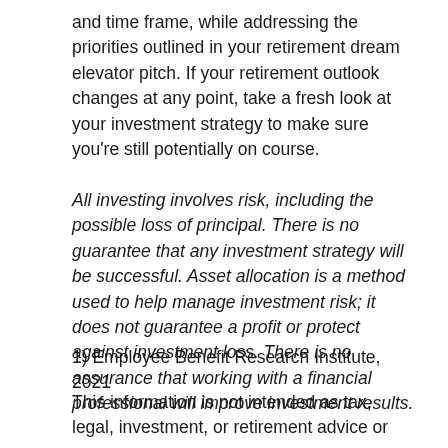and time frame, while addressing the priorities outlined in your retirement dream elevator pitch. If your retirement outlook changes at any point, take a fresh look at your investment strategy to make sure you're still potentially on course.
All investing involves risk, including the possible loss of principal. There is no guarantee that any investment strategy will be successful. Asset allocation is a method used to help manage investment risk; it does not guarantee a profit or protect against investment loss. There is no assurance that working with a financial professional will improve investment results.
1) Employee Benefit Research Institute, 2021
This information is not intended as tax, legal, investment, or retirement advice or